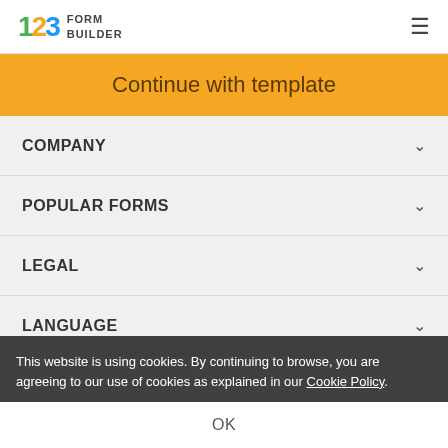123 FORM BUILDER
Continue with template
COMPANY
POPULAR FORMS
LEGAL
LANGUAGE
This website is using cookies. By continuing to browse, you are agreeing to our use of cookies as explained in our Cookie Policy.
OK